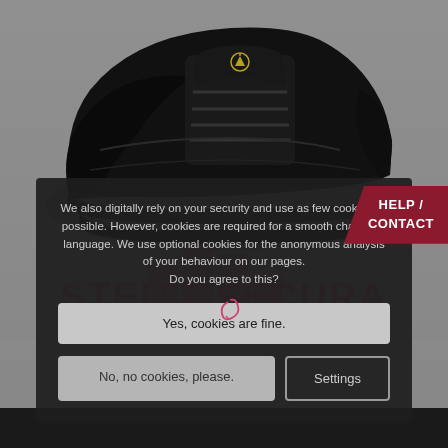[Figure (photo): Black safety shoe (low-cut sneaker style) with gold ESD symbol on tongue, photographed on grey background. Watermark logo columns shape visible behind main content.]
HELP / CONTACT
STEITZ SECURA
SAFETY FOOTWEAR
We also digitally rely on your security and use as few cookies as possible. However, cookies are required for a smooth change of language. We use optional cookies for the anonymous analysis of your behaviour on our pages. Do you agree to this?
Yes, cookies are fine.
No, no cookies, please.
Settings